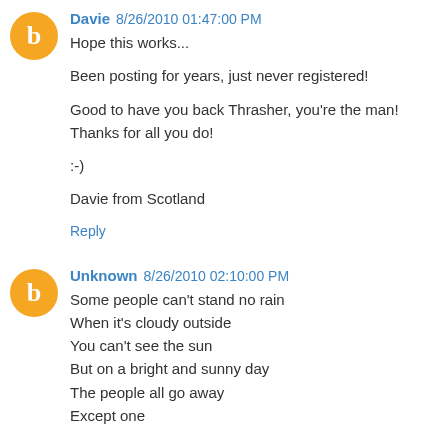[Figure (illustration): Orange circular blogger avatar with letter B for user Davie]
Davie 8/26/2010 01:47:00 PM
Hope this works...

Been posting for years, just never registered!

Good to have you back Thrasher, you're the man! Thanks for all you do!

:-)

Davie from Scotland
Reply
[Figure (illustration): Orange circular blogger avatar with letter B for user Unknown]
Unknown 8/26/2010 02:10:00 PM
Some people can't stand no rain
When it's cloudy outside
You can't see the sun
But on a bright and sunny day
The people all go away
Except one